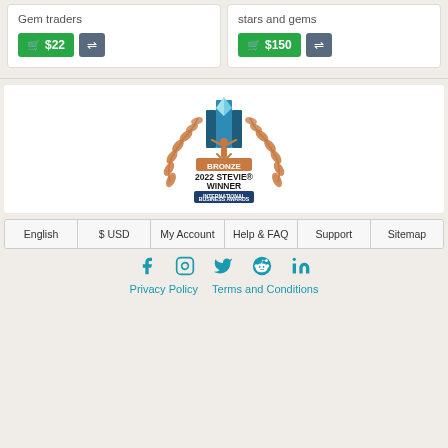Gem traders
stars and gems
$22
$150
[Figure (logo): Bronze 2022 Stevie Winner International Business Awards logo with laurel wreath and trophy figure]
English | $ USD | My Account | Help & FAQ | Support | Sitemap
Social icons: Facebook, Instagram, Twitter, Reddit, LinkedIn
Privacy Policy   Terms and Conditions